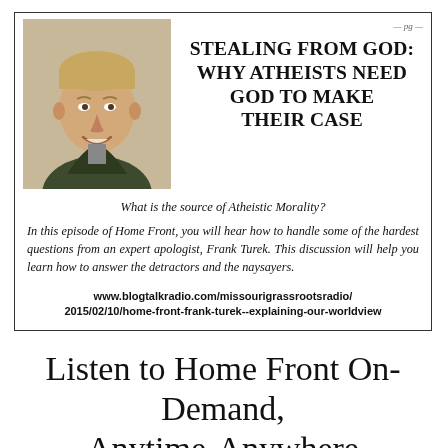[Figure (photo): Headshot of a smiling man with short blond hair wearing a dark green jacket]
STEALING FROM GOD: WHY ATHEISTS NEED GOD TO MAKE THEIR CASE
What is the source of Atheistic Morality?
In this episode of Home Front, you will hear how to handle some of the hardest questions from an expert apologist, Frank Turek. This discussion will help you learn how to answer the detractors and the naysayers.
www.blogtalkradio.com/missourigrassrootsradio/2015/02/10/home-front-frank-turek--explaining-our-worldview
Listen to Home Front On-Demand, Anytime-Anywhere
www.cynthiadavis.net/category/home-front-